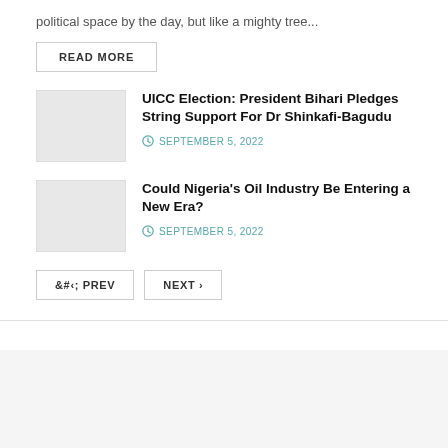political space by the day, but like a mighty tree...
READ MORE
UICC Election: President Bihari Pledges String Support For Dr Shinkafi-Bagudu
SEPTEMBER 5, 2022
[Figure (photo): Thumbnail image placeholder for UICC Election article]
Could Nigeria's Oil Industry Be Entering a New Era?
SEPTEMBER 5, 2022
[Figure (photo): Thumbnail image placeholder for Nigeria Oil Industry article]
< PREV
NEXT >